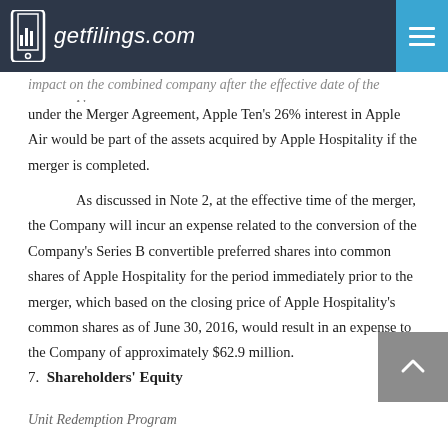getfilings.com
impact on the combined company after the effective date of the merger. Also, under the Merger Agreement, Apple Ten's 26% interest in Apple Air would be part of the assets acquired by Apple Hospitality if the merger is completed.
As discussed in Note 2, at the effective time of the merger, the Company will incur an expense related to the conversion of the Company's Series B convertible preferred shares into common shares of Apple Hospitality for the period immediately prior to the merger, which based on the closing price of Apple Hospitality's common shares as of June 30, 2016, would result in an expense to the Company of approximately $62.9 million.
7.  Shareholders' Equity
Unit Redemption Program